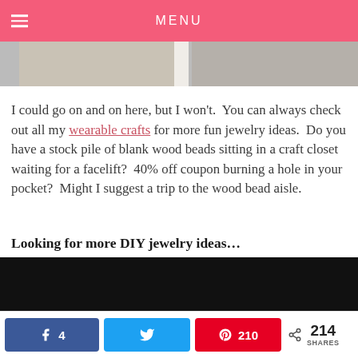MENU
[Figure (photo): Two partial images of crafts/jewelry visible at top]
I could go on and on here, but I won't.  You can always check out all my wearable crafts for more fun jewelry ideas.  Do you have a stock pile of blank wood beads sitting in a craft closet waiting for a facelift?  40% off coupon burning a hole in your pocket?  Might I suggest a trip to the wood bead aisle.
Looking for more DIY jewelry ideas…
[Figure (screenshot): Black video or content embed box]
4  [Facebook]  [Twitter]  210 [Pinterest]  < 214 SHARES